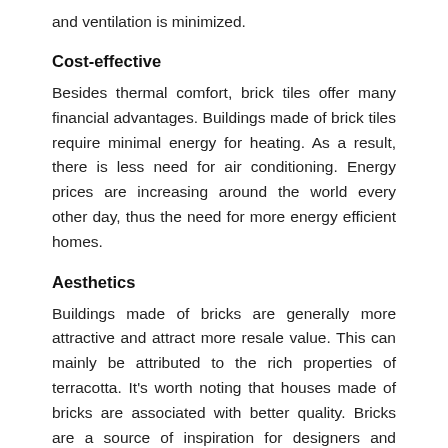and ventilation is minimized.
Cost-effective
Besides thermal comfort, brick tiles offer many financial advantages. Buildings made of brick tiles require minimal energy for heating. As a result, there is less need for air conditioning. Energy prices are increasing around the world every other day, thus the need for more energy efficient homes.
Aesthetics
Buildings made of bricks are generally more attractive and attract more resale value. This can mainly be attributed to the rich properties of terracotta. It's worth noting that houses made of bricks are associated with better quality. Bricks are a source of inspiration for designers and building owners alike, providing